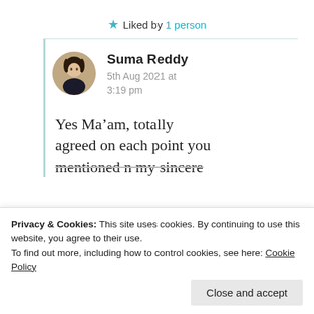★ Liked by 1 person
Suma Reddy
5th Aug 2021 at 3:19 pm
Yes Ma’am, totally agreed on each point you mentioned n my sincere
Privacy & Cookies: This site uses cookies. By continuing to use this website, you agree to their use.
To find out more, including how to control cookies, see here: Cookie Policy
Close and accept
I will be careful in future.